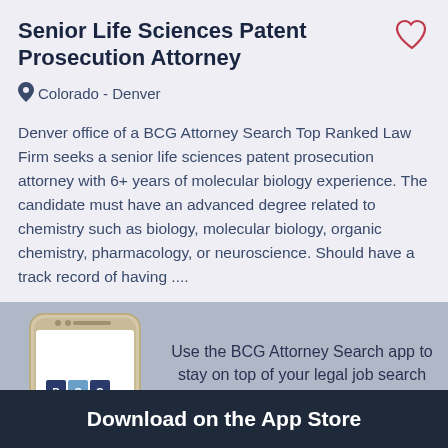Senior Life Sciences Patent Prosecution Attorney
Colorado - Denver
Denver office of a BCG Attorney Search Top Ranked Law Firm seeks a senior life sciences patent prosecution attorney with 6+ years of molecular biology experience. The candidate must have an advanced degree related to chemistry such as biology, molecular biology, organic chemistry, pharmacology, or neuroscience. Should have a track record of having ....
Use the BCG Attorney Search app to stay on top of your legal job search wherever you are.
Download on the App Store